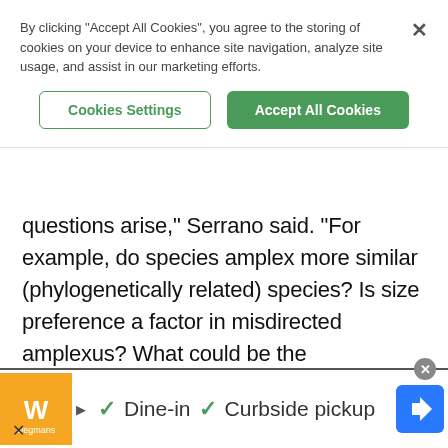[Figure (screenshot): Cookie consent banner overlay with 'Cookies Settings' and 'Accept All Cookies' buttons, and an X close button]
questions arise," Serrano said. "For example, do species amplex more similar (phylogenetically related) species? Is size preference a factor in misdirected amplexus? What could be the consequences of this behavior for amphibian populations?"
"We would like to gather more data, especially from
[Figure (screenshot): Advertisement banner at bottom: Wegmans restaurant ad with orange logo, play button, checkmark Dine-in, checkmark Curbside pickup, and blue navigation arrow icon]